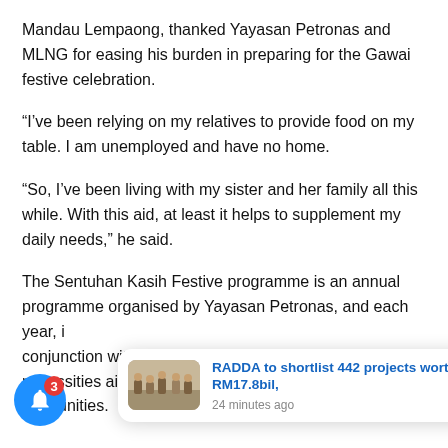Mandau Lempaong, thanked Yayasan Petronas and MLNG for easing his burden in preparing for the Gawai festive celebration.
“I’ve been relying on my relatives to provide food on my table. I am unemployed and have no home.
“So, I’ve been living with my sister and her family all this while. With this aid, at least it helps to supplement my daily needs,” he said.
The Sentuhan Kasih Festive programme is an annual programme organised by Yayasan Petronas, and each year, in conjunction with... necessities aim... unities.
[Figure (screenshot): Notification card showing: RADDA to shortlist 442 projects worth RM17.8bil, 24 minutes ago, with a thumbnail photo of people in a room.]